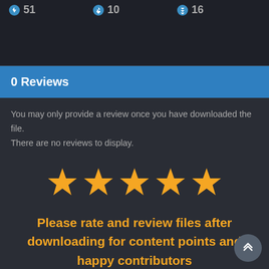[Figure (screenshot): Top dark bar showing download count numbers: 51, 10, 16 with down-arrow icons]
0 Reviews
You may only provide a review once you have downloaded the file. There are no reviews to display.
[Figure (illustration): Five gold/orange star rating icons in a row]
Please rate and review files after downloading for content points and happy contributors